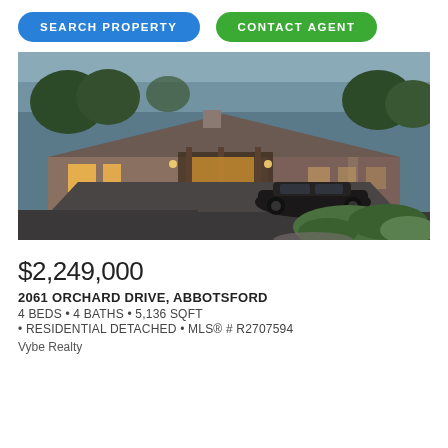SEARCH PROPERTY
CONTACT AGENT
[Figure (photo): Exterior photo of a large single-story ranch-style home at dusk, with warm interior lighting, a wide driveway, a black classic car parked in front, and lush trees and shrubs in the foreground and background.]
$2,249,000
2061 ORCHARD DRIVE, ABBOTSFORD
4 BEDS • 4 BATHS • 5,136 SQFT
• RESIDENTIAL DETACHED • MLS® # R2707594
Vybe Realty